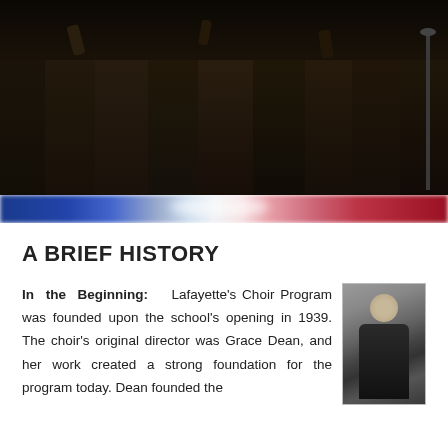[Figure (photo): Dark photograph of choir members in robes performing on stage, viewed from below/front angle]
[Figure (other): Decorative horizontal stripe with blended blue, white, and red colors (patriotic color scheme)]
A BRIEF HISTORY
In the Beginning: Lafayette's Choir Program was founded upon the school's opening in 1939. The choir's original director was Grace Dean, and her work created a strong foundation for the program today. Dean founded the
[Figure (photo): Black and white portrait photograph of a person, partially visible on right side]